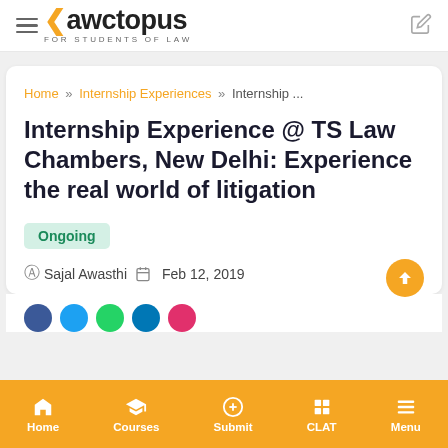lawctopus — FOR STUDENTS OF LAW
Home » Internship Experiences » Internship ...
Internship Experience @ TS Law Chambers, New Delhi: Experience the real world of litigation
Ongoing
Sajal Awasthi   Feb 12, 2019
Home  Courses  Submit  CLAT  Menu